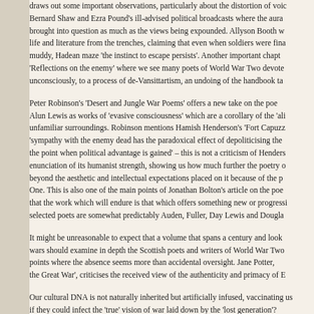draws out some important observations, particularly about the distortion of voice. Bernard Shaw and Ezra Pound's ill-advised political broadcasts where the aura brought into question as much as the views being expounded. Allyson Booth w life and literature from the trenches, claiming that even when soldiers were fina muddy, Hadean maze 'the instinct to escape persists'. Another important chapt 'Reflections on the enemy' where we see many poets of World War Two devote unconsciously, to a process of de-Vansittartism, an undoing of the handbook ta
Peter Robinson's 'Desert and Jungle War Poems' offers a new take on the poe Alun Lewis as works of 'evasive consciousness' which are a corollary of the 'ali unfamiliar surroundings. Robinson mentions Hamish Henderson's 'Fort Capuzz 'sympathy with the enemy dead has the paradoxical effect of depoliticising the the point when political advantage is gained' – this is not a criticism of Henders enunciation of its humanist strength, showing us how much further the poetry o beyond the aesthetic and intellectual expectations placed on it because of the p One. This is also one of the main points of Jonathan Bolton's article on the poe that the work which will endure is that which offers something new or progressi selected poets are somewhat predictably Auden, Fuller, Day Lewis and Dougla
It might be unreasonable to expect that a volume that spans a century and look wars should examine in depth the Scottish poets and writers of World War Two points where the absence seems more than accidental oversight. Jane Potter, the Great War', criticises the received view of the authenticity and primacy of E
Our cultural DNA is not naturally inherited but artificially infused, vaccinating us if they could infect the 'true' vision of war laid down by the 'lost generation'?